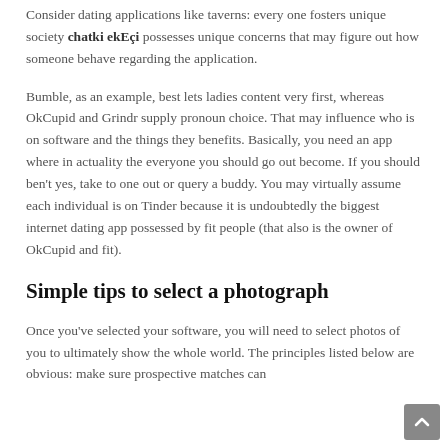Consider dating applications like taverns: every one fosters unique society chatki ekEçi possesses unique concerns that may figure out how someone behave regarding the application.
Bumble, as an example, best lets ladies content very first, whereas OkCupid and Grindr supply pronoun choice. That may influence who is on software and the things they benefits. Basically, you need an app where in actuality the everyone you should go out become. If you should ben't yes, take to one out or query a buddy. You may virtually assume each individual is on Tinder because it is undoubtedly the biggest internet dating app possessed by fit people (that also is the owner of OkCupid and fit).
Simple tips to select a photograph
Once you've selected your software, you will need to select photos of you to ultimately show the whole world. The principles listed below are obvious: make sure prospective matches can